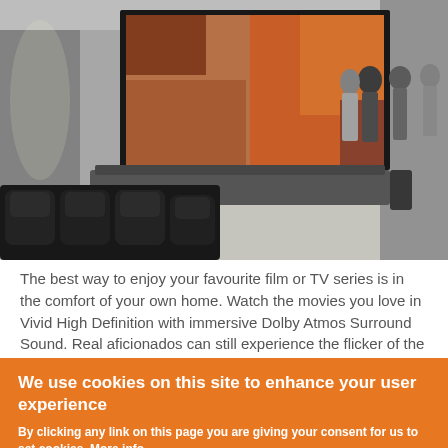[Figure (photo): Interior of a home cinema room with dark recliner seats in the foreground, people standing near a large projection screen showing a colorful movie image, with modern white cabinetry and surround sound speakers visible.]
The best way to enjoy your favourite film or TV series is in the comfort of your own home. Watch the movies you love in Vivid High Definition with immersive Dolby Atmos Surround Sound. Real aficionados can still experience the flicker of the cinema with
We use cookies on this site to enhance your user experience
By clicking any link on this page you are giving your consent for us to set cookies. More info
OK, I agree
No, thanks